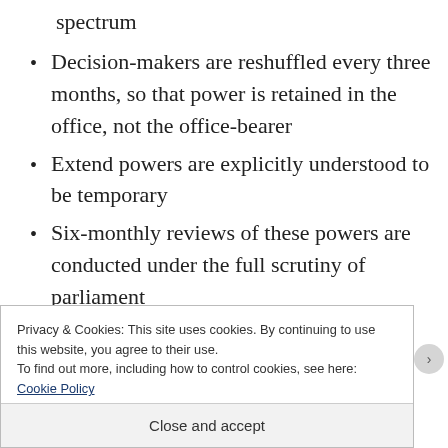spectrum
Decision-makers are reshuffled every three months, so that power is retained in the office, not the office-bearer
Extend powers are explicitly understood to be temporary
Six-monthly reviews of these powers are conducted under the full scrutiny of parliament
Privacy & Cookies: This site uses cookies. By continuing to use this website, you agree to their use.
To find out more, including how to control cookies, see here: Cookie Policy
Close and accept